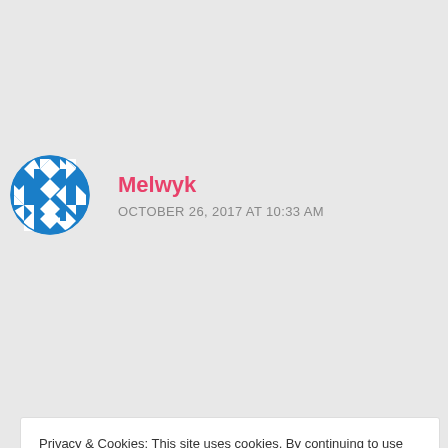[Figure (illustration): Blue geometric/quilt pattern circular avatar icon for user Melwyk]
Melwyk
OCTOBER 26, 2017 AT 10:33 AM
Gorgeous! Both pieces…I'm tempted to try a swing dress now as well, though not sure if my height can carry it off entirely… 🙂 Good tips on patterns to try out.
Privacy & Cookies: This site uses cookies. By continuing to use this website, you agree to their use.
To find out more, including how to control cookies, see here: Cookie Policy
Close and accept